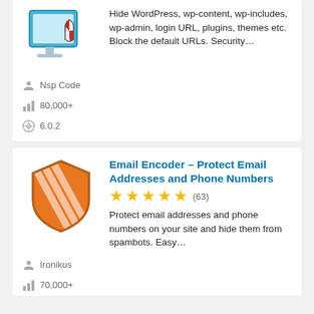[Figure (illustration): Computer monitor with a shield icon showing red and white quadrants — security plugin logo]
Hide WordPress, wp-content, wp-includes, wp-admin, login URL, plugins, themes etc. Block the default URLs. Security…
Nsp Code
80,000+
6.0.2
[Figure (illustration): Orange shield with diagonal stripe lines — Email Encoder plugin logo]
Email Encoder – Protect Email Addresses and Phone Numbers
Protect email addresses and phone numbers on your site and hide them from spambots. Easy…
Ironikus
70,000+